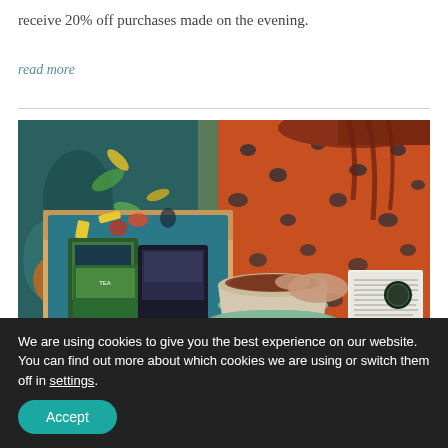receive 20% off purchases made on the evening.
read more
[Figure (photo): Person in orange and dark blue leopard-print dress seated, with an open subscription tea box containing tea packets on one side and a cup of brewed tea on a saucer in the center, holding a small booklet in their right hand. Background shows colourful fabric.]
We are using cookies to give you the best experience on our website.
You can find out more about which cookies we are using or switch them off in settings.
Accept